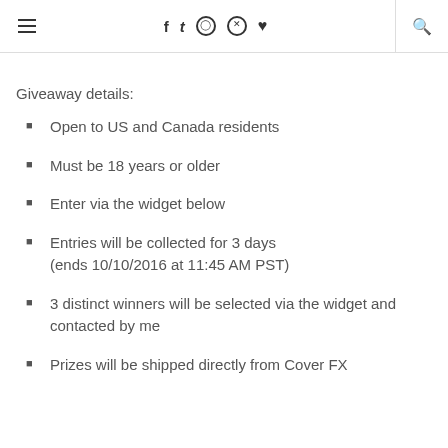≡ f t ⊙ ⊕ ♥ 🔍
Giveaway details:
Open to US and Canada residents
Must be 18 years or older
Enter via the widget below
Entries will be collected for 3 days (ends 10/10/2016 at 11:45 AM PST)
3 distinct winners will be selected via the widget and contacted by me
Prizes will be shipped directly from Cover FX